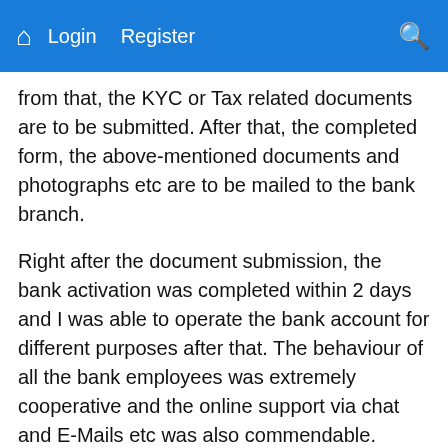Home  Login  Register  Search
from that, the KYC or Tax related documents are to be submitted. After that, the completed form, the above-mentioned documents and photographs etc are to be mailed to the bank branch.
Right after the document submission, the bank activation was completed within 2 days and I was able to operate the bank account for different purposes after that. The behaviour of all the bank employees was extremely cooperative and the online support via chat and E-Mails etc was also commendable.
NRE Banking with the South Indian Bank:
The NRE bank accounts can be opened in three categories, namely – Term Deposit, Savings and Current. The accounts can be owned as well as managed jointly. The process of opening a bank account in the NRE